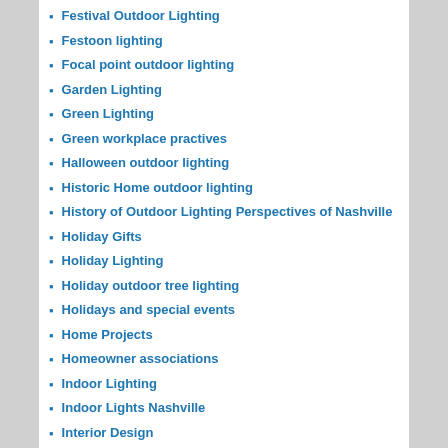Festival Outdoor Lighting
Festoon lighting
Focal point outdoor lighting
Garden Lighting
Green Lighting
Green workplace practives
Halloween outdoor lighting
Historic Home outdoor lighting
History of Outdoor Lighting Perspectives of Nashville
Holiday Gifts
Holiday Lighting
Holiday outdoor tree lighting
Holidays and special events
Home Projects
Homeowner associations
Indoor Lighting
Indoor Lights Nashville
Interior Design
Landscape Design
Landscape Lighting
LED